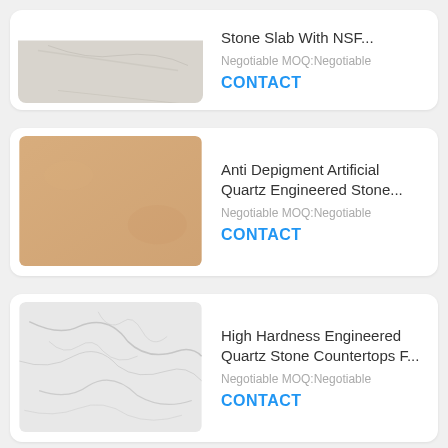[Figure (photo): Light grey/beige stone slab texture, partial view at top of page]
Stone Slab With NSF...
Negotiable MOQ:Negotiable
CONTACT
[Figure (photo): Warm beige/tan colored stone slab texture]
Anti Depigment Artificial Quartz Engineered Stone...
Negotiable MOQ:Negotiable
CONTACT
[Figure (photo): White marble-look engineered quartz stone with grey veining]
High Hardness Engineered Quartz Stone Countertops F...
Negotiable MOQ:Negotiable
CONTACT